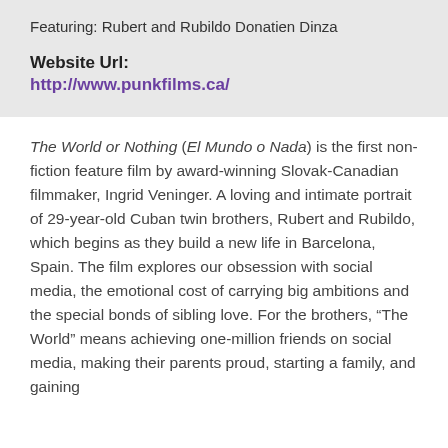Featuring: Rubert and Rubildo Donatien Dinza
Website Url:
http://www.punkfilms.ca/
The World or Nothing (El Mundo o Nada) is the first non-fiction feature film by award-winning Slovak-Canadian filmmaker, Ingrid Veninger. A loving and intimate portrait of 29-year-old Cuban twin brothers, Rubert and Rubildo, which begins as they build a new life in Barcelona, Spain. The film explores our obsession with social media, the emotional cost of carrying big ambitions and the special bonds of sibling love. For the brothers, “The World” means achieving one-million friends on social media, making their parents proud, starting a family, and gaining